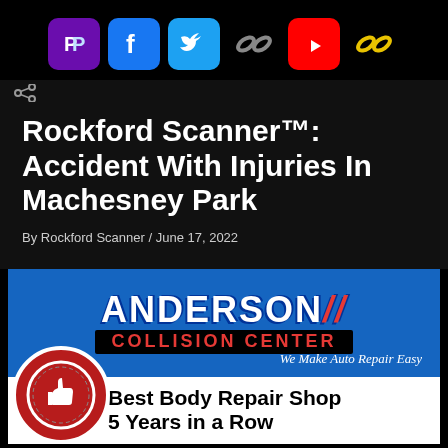[Figure (screenshot): Social media icon bar with PayPal (purple), Facebook (blue), Twitter (light blue), chain link (gray), YouTube (red), and chain link (yellow) icons on black background]
Rockford Scanner™: Accident With Injuries In Machesney Park
By Rockford Scanner / June 17, 2022
[Figure (logo): Anderson Collision Center advertisement banner. Blue background with white ANDERSON text and red slash marks, red COLLISION CENTER text on black background, tagline 'We Make Auto Repair Easy', and white section reading 'Best Body Repair Shop 5 Years in a Row' with thumbs-up logo.]